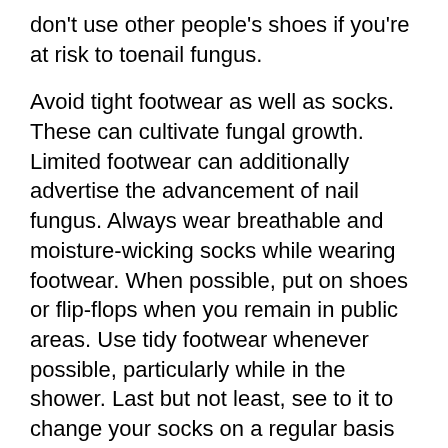don't use other people's shoes if you're at risk to toenail fungus.
Avoid tight footwear as well as socks. These can cultivate fungal growth. Limited footwear can additionally advertise the advancement of nail fungus. Always wear breathable and moisture-wicking socks while wearing footwear. When possible, put on shoes or flip-flops when you remain in public areas. Use tidy footwear whenever possible, particularly while in the shower. Last but not least, see to it to change your socks on a regular basis and don't put on the same pair of footwear more than once a week.
Sources Of Smelly Feet
Smelly feet are a typical problem for 10% to